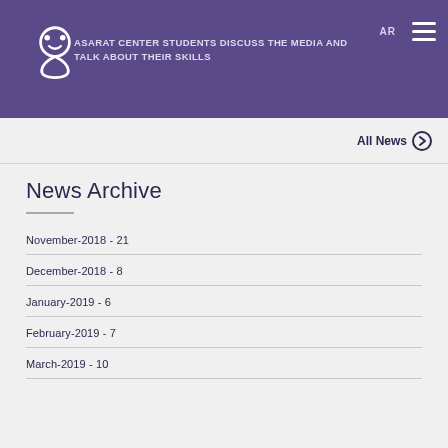ASARAT CENTER STUDENTS DISCUSS THE MEDIA AND TALK ABOUT THEIR SKILLS
All News →
News Archive
November-2018 - 21
December-2018 - 8
January-2019 - 6
February-2019 - 7
March-2019 - 10